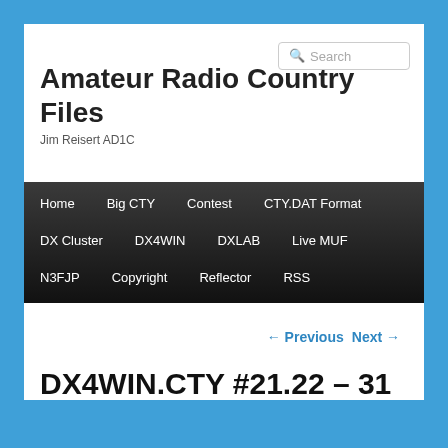Search
Amateur Radio Country Files
Jim Reisert AD1C
Home  Big CTY  Contest  CTY.DAT Format  DX Cluster  DX4WIN  DXLAB  Live MUF  N3FJP  Copyright  Reflector  RSS
← Previous  Next →
DX4WIN.CTY #21.22 – 31